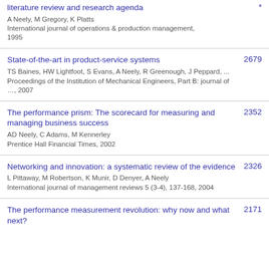literature review and research agenda
A Neely, M Gregory, K Platts
International journal of operations & production management, 1995
*
State-of-the-art in product-service systems
TS Baines, HW Lightfoot, S Evans, A Neely, R Greenough, J Peppard, ...
Proceedings of the Institution of Mechanical Engineers, Part B: journal of …, 2007
2679
The performance prism: The scorecard for measuring and managing business success
AD Neely, C Adams, M Kennerley
Prentice Hall Financial Times, 2002
2352
Networking and innovation: a systematic review of the evidence
L Pittaway, M Robertson, K Munir, D Denyer, A Neely
International journal of management reviews 5 (3-4), 137-168, 2004
2326
The performance measurement revolution: why now and what next?
2171